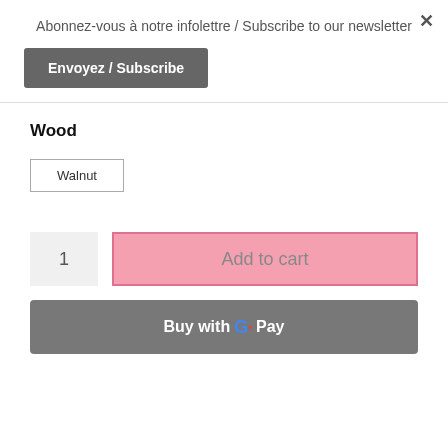Abonnez-vous à notre infolettre / Subscribe to our newsletter
Envoyez / Subscribe
Wood
Walnut
1
Add to cart
Buy with G Pay